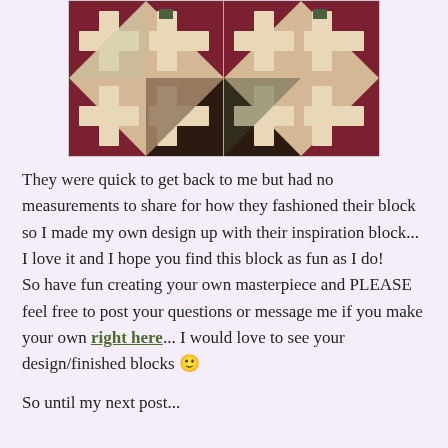[Figure (photo): A quilt block photo showing two symmetrical Log Cabin-style quilt blocks with dark red, cream, green, and black triangular and rectangular fabric pieces arranged in a geometric pattern.]
They were quick to get back to me but had no measurements to share for how they fashioned their block so I made my own design up with their inspiration block... I love it and I hope you find this block as fun as I do!
So have fun creating your own masterpiece and PLEASE feel free to post your questions or message me if you make your own right here... I would love to see your design/finished blocks 🙂
So until my next post...